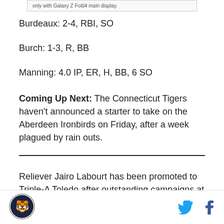[Figure (other): Advertisement banner for Galaxy Z Fold4, partial text visible: 'only with Galaxy Z Fold4 main display.']
Burdeaux: 2-4, RBI, SO
Burch: 1-3, R, BB
Manning: 4.0 IP, ER, H, BB, 6 SO
Coming Up Next: The Connecticut Tigers haven't announced a starter to take on the Aberdeen Ironbirds on Friday, after a week plagued by rain outs.
Reliever Jairo Labourt has been promoted to Triple-A Toledo after outstanding campaigns at both the
[Figure (logo): Connecticut Tigers team logo, circular badge with tiger illustration]
Twitter and Facebook share icons